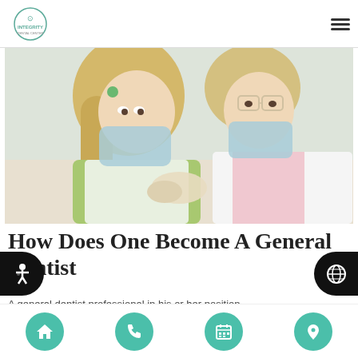Integrity Dental — navigation header with logo and hamburger menu
[Figure (photo): Two female dental professionals wearing surgical masks and gloves examining something together in a clinical setting. One wears a green outfit, the other wears white with protective glasses.]
How Does One Become A General Dentist
A general dentist professional in his position...
Bottom navigation bar with home, phone, calendar, and location icons